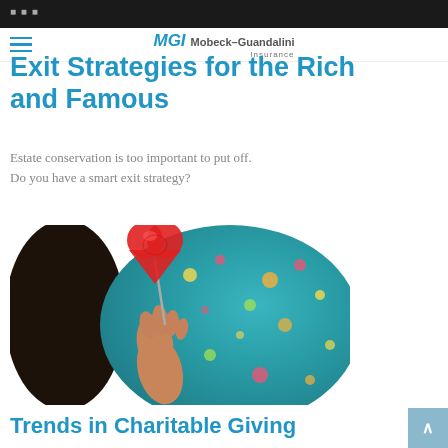[Figure (logo): MGI Mobeck-Guandalini Insurance logo with blue MGI letters]
Exit Strategies for the Rich and Famous
Estate conservation is too important to put off. Do you have a smart exit strategy?
[Figure (photo): Child holding a red heart-shaped lollipop in front of a colorful floral background]
Trends in Charitable Giving